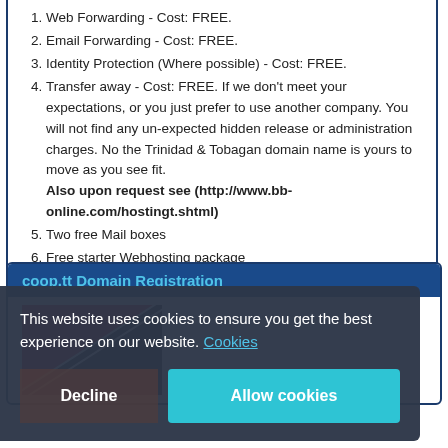1. Web Forwarding - Cost: FREE.
2. Email Forwarding - Cost: FREE.
3. Identity Protection (Where possible) - Cost: FREE.
4. Transfer away - Cost: FREE. If we don't meet your expectations, or you just prefer to use another company. You will not find any un-expected hidden release or administration charges. No the Trinidad & Tobagan domain name is yours to move as you see fit. Also upon request see (http://www.bb-online.com/hostingt.shtml)
5. Two free Mail boxes
6. Free starter Webhosting package
coop.tt Domain Registration
This website uses cookies to ensure you get the best experience on our website. Cookies